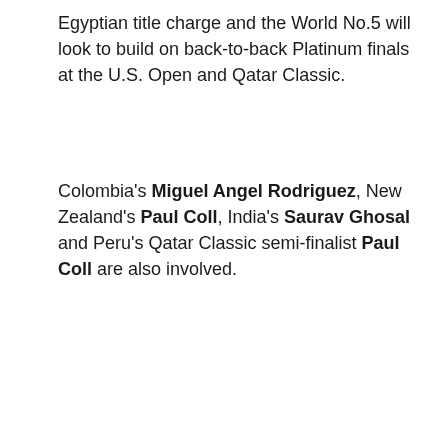Egyptian title charge and the World No.5 will look to build on back-to-back Platinum finals at the U.S. Open and Qatar Classic.
Colombia's Miguel Angel Rodriguez, New Zealand's Paul Coll, India's Saurav Ghosal and Peru's Qatar Classic semi-finalist Paul Coll are also involved.